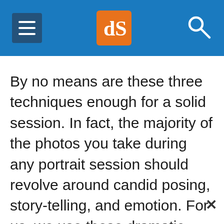dPS
By no means are these three techniques enough for a solid session. In fact, the majority of the photos you take during any portrait session should revolve around candid posing, story-telling, and emotion. For us, we use these dramatic environmental shots to “set the stage” in a final album, canvas mural or other print medium. They are the big grand images that sets the scene, and they are followed by the close up